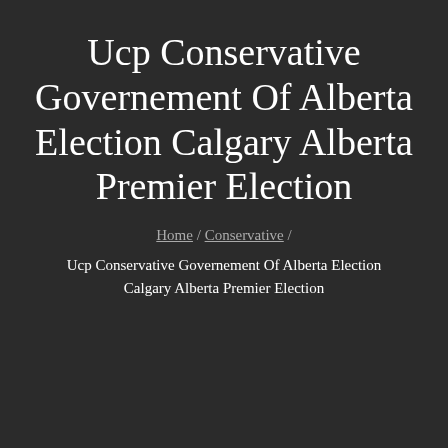Ucp Conservative Governement Of Alberta Election Calgary Alberta Premier Election
Home / Conservative / Ucp Conservative Governement Of Alberta Election Calgary Alberta Premier Election